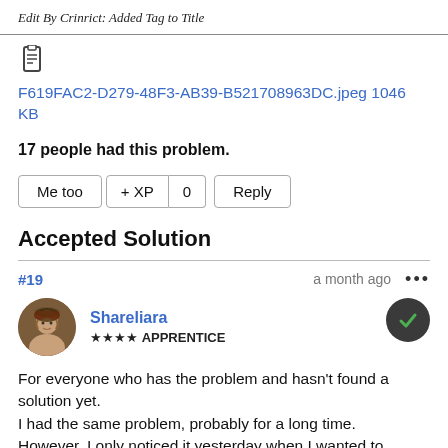Edit By Crinrict: Added Tag to Title
[Figure (illustration): Clipboard/attachment icon]
F619FAC2-D279-48F3-AB39-B521708963DC.jpeg 1046 KB
17 people had this problem.
Me too   + XP   0   Reply
Accepted Solution
#19   a month ago   ...
Shareliara
★★★★ APPRENTICE
For everyone who has the problem and hasn't found a solution yet.
I had the same problem, probably for a long time.
However, I only noticed it yesterday when I wanted to